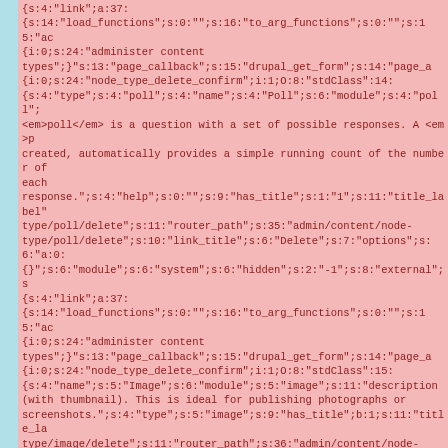{s:4:"link";a:37:
{s:14:"load_functions";s:0:"";s:16:"to_arg_functions";s:0:"";s:15:"ac
{i:0;s:24:"administer content types";}";s:13:"page_callback";s:15:"drupal_get_form";s:14:"page_a
{i:0;s:24:"node_type_delete_confirm";i:1;O:8:"stdClass":14:
{s:4:"type";s:4:"poll";s:4:"name";s:4:"Poll";s:6:"module";s:4:"poll";
<em>poll</em> is a question with a set of possible responses. A <em>p
created, automatically provides a simple running count of the number of
each
response.";s:4:"help";s:0:"";s:9:"has_title";s:1:"1";s:11:"title_label"
type/poll/delete";s:11:"router_path";s:35:"admin/content/node-
type/poll/delete";s:10:"link_title";s:6:"Delete";s:7:"options";s:6:"a:0:
{}";s:6:"module";s:6:"system";s:6:"hidden";s:2:"-1";s:8:"external";s
{s:4:"link";a:37:
{s:14:"load_functions";s:0:"";s:16:"to_arg_functions";s:0:"";s:15:"ac
{i:0;s:24:"administer content types";}";s:13:"page_callback";s:15:"drupal_get_form";s:14:"page_a
{i:0;s:24:"node_type_delete_confirm";i:1;O:8:"stdClass":15:
{s:4:"name";s:5:"Image";s:6:"module";s:5:"image";s:11:"description
(with thumbnail). This is ideal for publishing photographs or
screenshots.";s:4:"type";s:5:"image";s:9:"has_title";b:1;s:11:"title_la
type/image/delete";s:11:"router_path";s:36:"admin/content/node-
type/image/delete";s:10:"link_title";s:6:"Delete";s:7:"options";s:6:"a:
{}";s:6:"module";s:6:"system";s:6:"hidden";s:2:"-1";s:8:"external";s
{s:4:"link";a:37:
{s:14:"load_functions";s:0:"";s:16:"to_arg_functions";s:0:"";s:15:"ac
{i:0;s:24:"administer content